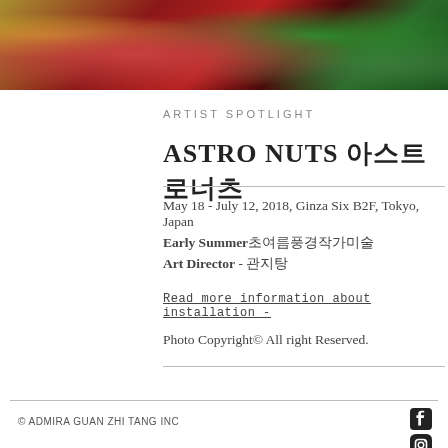[Figure (photo): Cropped photo showing colorful art installation with red, dark red, and green organic shapes against a dark background]
ARTIST SPOTLIGHT
ASTRO NUTS 아스트로너츠
May 18 - July 12, 2018, Ginza Six B2F, Tokyo, Japan
Early Summer초여름풍경작가미술
Art Director - 관지탕
Read more information about installation -
Photo Copyright© All right Reserved.
© ADMIRA GUAN ZHI TANG INC